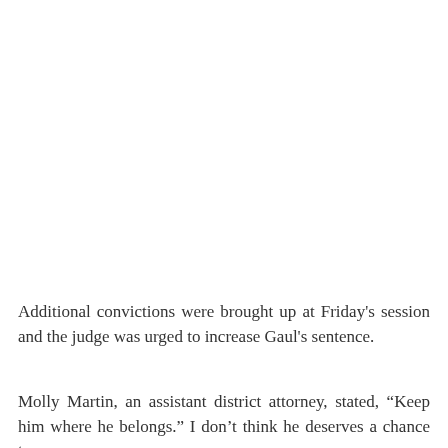Additional convictions were brought up at Friday's session and the judge was urged to increase Gaul's sentence.
Molly Martin, an assistant district attorney, stated, “Keep him where he belongs.” I don’t think he deserves a chance to come